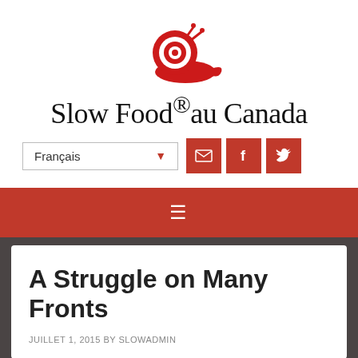[Figure (logo): Slow Food snail logo in red — a stylized snail with spiral shell]
Slow Food® au Canada
Français ▼
[Figure (infographic): Three red square social media buttons: email (envelope icon), Facebook (f icon), Twitter (bird icon)]
[Figure (infographic): Red navigation bar with hamburger menu icon (three horizontal lines)]
A Struggle on Many Fronts
JUILLET 1, 2015 BY SLOWADMIN